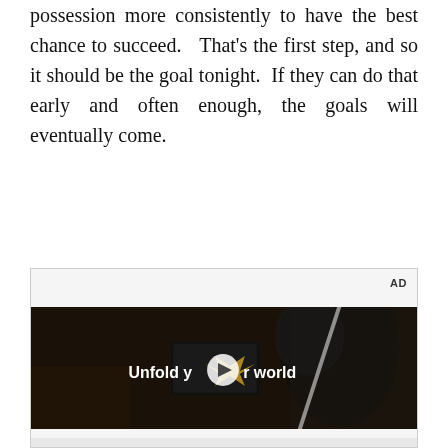possession more consistently to have the best chance to succeed.   That's the first step, and so it should be the goal tonight.  If they can do that early and often enough, the goals will eventually come.
[Figure (screenshot): Advertisement banner showing a Samsung video ad with the text 'Unfold your world' overlaid on a dark scene of a woman holding a foldable phone in a car. A play button is visible in the center. 'AD' label appears in top right corner.]